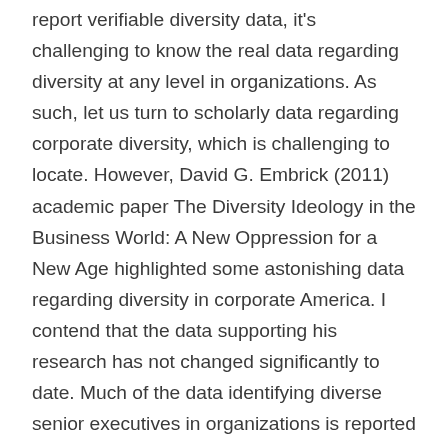report verifiable diversity data, it's challenging to know the real data regarding diversity at any level in organizations. As such, let us turn to scholarly data regarding corporate diversity, which is challenging to locate. However, David G. Embrick (2011) academic paper The Diversity Ideology in the Business World: A New Oppression for a New Age highlighted some astonishing data regarding diversity in corporate America. I contend that the data supporting his research has not changed significantly to date. Much of the data identifying diverse senior executives in organizations is reported as a percentage of employment improvements for women and minorities, not actual real numbers. This calculation method can